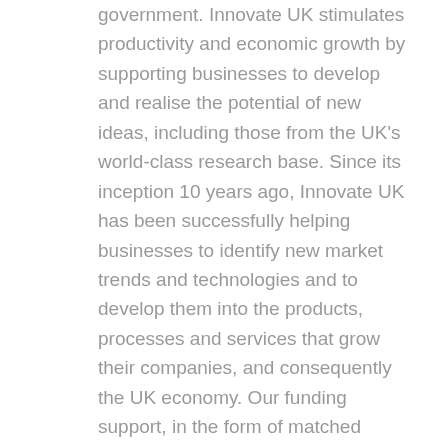government. Innovate UK stimulates productivity and economic growth by supporting businesses to develop and realise the potential of new ideas, including those from the UK's world-class research base. Since its inception 10 years ago, Innovate UK has been successfully helping businesses to identify new market trends and technologies and to develop them into the products, processes and services that grow their companies, and consequently the UK economy. Our funding support, in the form of matched grants and loans, provides opportunities for businesses to innovate faster, more intensely, or more collaboratively than they would otherwise. For further information, visit: gov.uk/government/organisations/inno